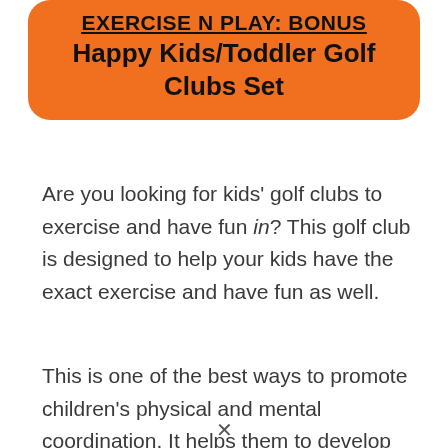EXERCISE N PLAY: BONUS Happy Kids/Toddler Golf Clubs Set
Are you looking for kids' golf clubs to exercise and have fun in? This golf club is designed to help your kids have the exact exercise and have fun as well.
This is one of the best ways to promote children's physical and mental coordination. It helps them to develop upper limb muscles, joints, and ...(cut off)